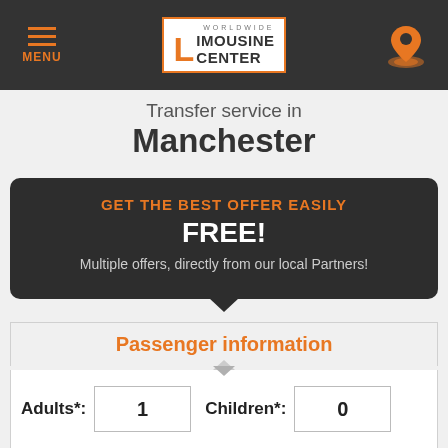[Figure (screenshot): Navigation bar with hamburger menu icon labeled MENU on left, Worldwide Limousine Center logo in center, and location pin icon on right, all on dark background]
Transfer service in Manchester
GET THE BEST OFFER EASILY FREE! Multiple offers, directly from our local Partners!
Passenger information
Adults*: 1   Children*: 0